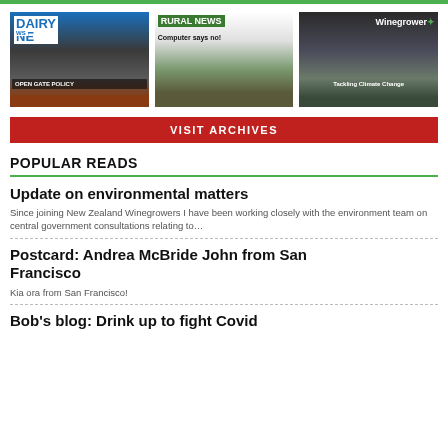[Figure (screenshot): Three magazine covers side by side: Dairy News with 'OPEN GATE POLICY', Rural News with 'Computer says no!', and Winegrower with 'Tackling Climate Change']
VISIT ARCHIVES
POPULAR READS
Update on environmental matters
Since joining New Zealand Winegrowers I have been working closely with the environment team on central government consultations relating to...
Postcard: Andrea McBride John from San Francisco
Kia ora from San Francisco!
Bob's blog: Drink up to fight Covid